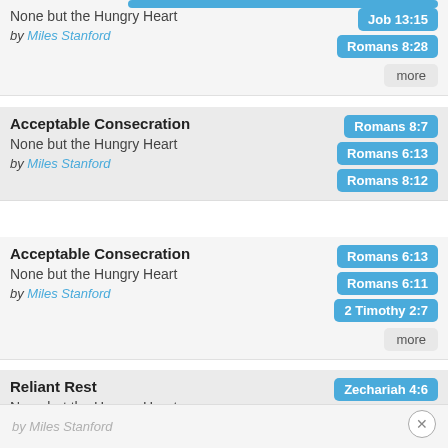None but the Hungry Heart | Job 13:15, Romans 8:28 | by Miles Stanford | more
Acceptable Consecration | Romans 8:7, Romans 6:13, Romans 8:12 | None but the Hungry Heart | by Miles Stanford
Acceptable Consecration | Romans 6:13, Romans 6:11, 2 Timothy 2:7 | None but the Hungry Heart | by Miles Stanford | more
Reliant Rest | Zechariah 4:6, Philippians 4:19 | None but the Hungry Heart
by Miles Stanford